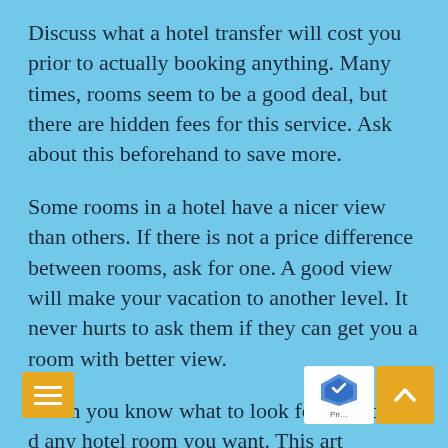Discuss what a hotel transfer will cost you prior to actually booking anything. Many times, rooms seem to be a good deal, but there are hidden fees for this service. Ask about this beforehand to save more.
Some rooms in a hotel have a nicer view than others. If there is not a price difference between rooms, ask for one. A good view will make your vacation to another level. It never hurts to ask them if they can get you a room with better view.
When you know what to look for, you c d any hotel room you want. This art has provided some helpful tips in the